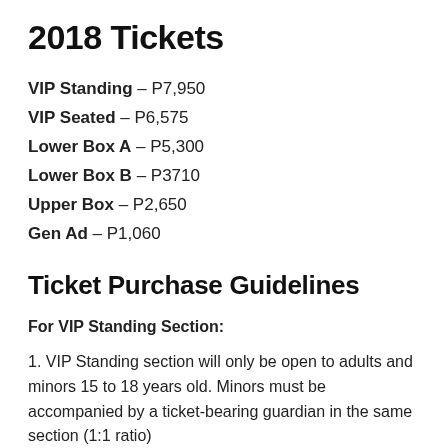2018 Tickets
VIP Standing – P7,950
VIP Seated – P6,575
Lower Box A – P5,300
Lower Box B – P3710
Upper Box – P2,650
Gen Ad – P1,060
Ticket Purchase Guidelines
For VIP Standing Section:
1. VIP Standing section will only be open to adults and minors 15 to 18 years old. Minors must be accompanied by a ticket-bearing guardian in the same section (1:1 ratio)
2. Parents/guardians will be responsible for their kids safety at all times